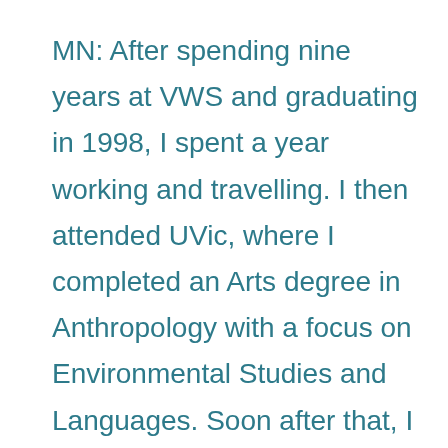MN: After spending nine years at VWS and graduating in 1998, I spent a year working and travelling. I then attended UVic, where I completed an Arts degree in Anthropology with a focus on Environmental Studies and Languages. Soon after that, I met my husband and started a family, and we now have three daughters, aged 8, 11 and 13. During early motherhood, I continued my education with a two-year certification as a